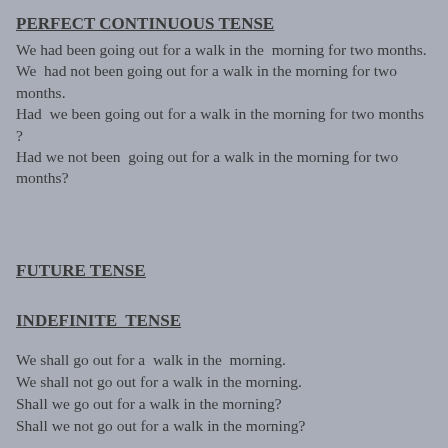PERFECT CONTINUOUS TENSE
We had been going out for a walk in the  morning for two months.
We  had not been going out for a walk in the morning for two months.
Had  we been going out for a walk in the morning for two months ?
Had we not been  going out for a walk in the morning for two months?
FUTURE TENSE
INDEFINITE  TENSE
We shall go out for a  walk in the  morning.
We shall not go out for a walk in the morning.
Shall we go out for a walk in the morning?
Shall we not go out for a walk in the morning?
CONTINUOUS TENSE